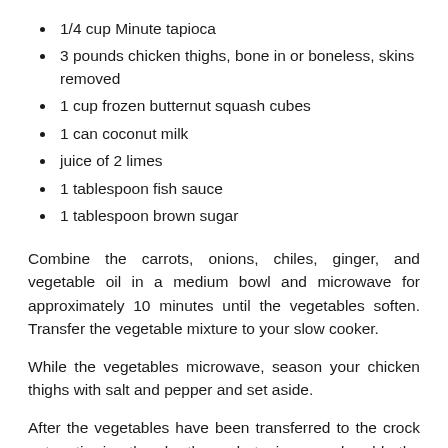1/4 cup Minute tapioca
3 pounds chicken thighs, bone in or boneless, skins removed
1 cup frozen butternut squash cubes
1 can coconut milk
juice of 2 limes
1 tablespoon fish sauce
1 tablespoon brown sugar
Combine the carrots, onions, chiles, ginger, and vegetable oil in a medium bowl and microwave for approximately 10 minutes until the vegetables soften. Transfer the vegetable mixture to your slow cooker.
While the vegetables microwave, season your chicken thighs with salt and pepper and set aside.
After the vegetables have been transferred to the crock pot, stir in the broth and tapioca and add the lemongrass. Place the chicken in the crock pot, cover, and cook on low for 4 to 6 hours